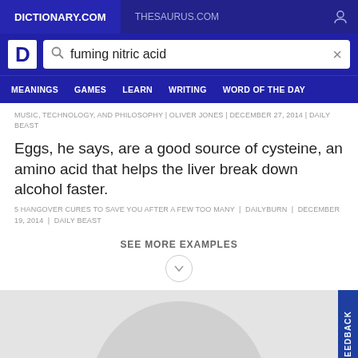DICTIONARY.COM | THESAURUS.COM
[Figure (screenshot): Dictionary.com logo (white D on blue background) with search bar containing 'fuming nitric acid']
MEANINGS | GAMES | LEARN | WRITING | WORD OF THE DAY
MUSIC, TECHNOLOGY, AND PHILOSOPHY | OLIVER JONES | DECEMBER 27, 2014 | DAILY BEAST
Eggs, he says, are a good source of cysteine, an amino acid that helps the liver break down alcohol faster.
5 HANGOVER CURES TO SAVE YOU AFTER A FEW TOO MANY | DAILYBURN | DECEMBER 19, 2014 | DAILY BEAST
SEE MORE EXAMPLES
WORD OF THE DAY